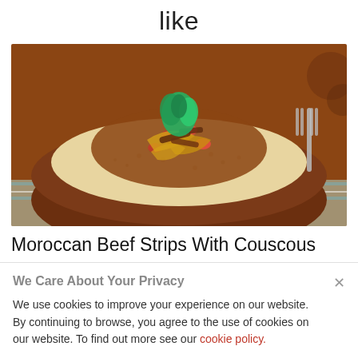like
[Figure (photo): A clay bowl filled with Moroccan beef strips served over couscous, topped with caramelized onions, diced tomatoes, and fresh herb garnish. A fork is visible in the background.]
Moroccan Beef Strips With Couscous
We Care About Your Privacy
We use cookies to improve your experience on our website. By continuing to browse, you agree to the use of cookies on our website. To find out more see our cookie policy.